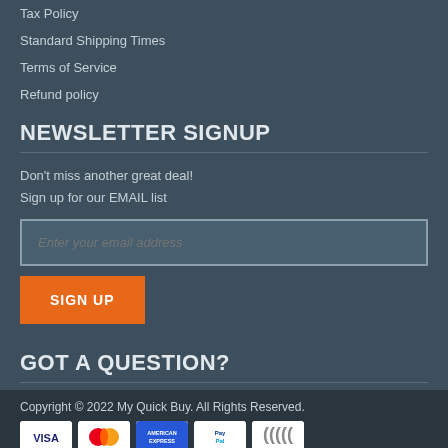Tax Policy
Standard Shipping Times
Terms of Service
Refund policy
NEWSLETTER SIGNUP
Don't miss another great deal!
Sign up for our EMAIL list
Enter your email address
SIGN UP
GOT A QUESTION?
Contact us!
Copyright © 2022 My Quick Buy. All Rights Reserved.
[Figure (other): Payment method icons: VISA, MasterCard, American Express, PayPal, and another card]